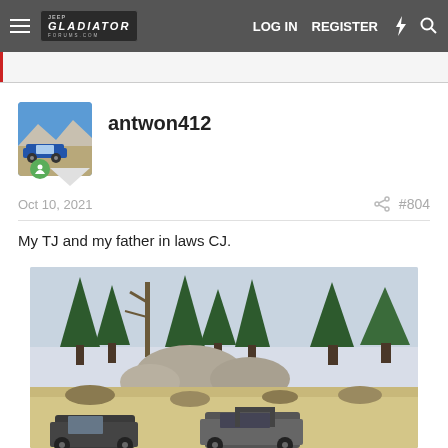LOG IN   REGISTER
antwon412
Oct 10, 2021   #804
My TJ and my father in laws CJ.
[Figure (photo): Outdoor off-road scene with two Jeeps (a TJ and a CJ) parked on a dirt trail surrounded by pine trees and large boulders]